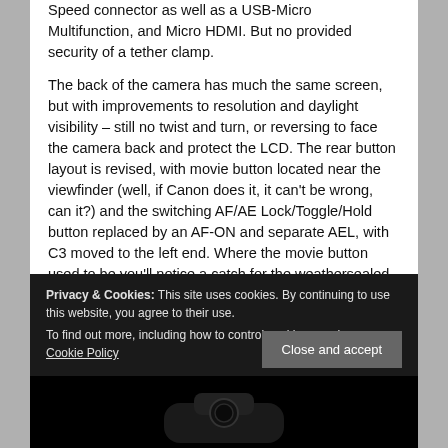Speed connector as well as a USB-Micro Multifunction, and Micro HDMI. But no provided security of a tether clamp.
The back of the camera has much the same screen, but with improvements to resolution and daylight visibility – still no twist and turn, or reversing to face the camera back and protect the LCD. The rear button layout is revised, with movie button located near the viewfinder (well, if Canon does it, it can't be wrong, can it?) and the switching AF/AE Lock/Toggle/Hold button replaced by an AF-ON and separate AEL, with C3 moved to the left end. Where the movie button used to be you'll notice a catch for the weathersealed door which covers TWO SD card slots, one
Privacy & Cookies: This site uses cookies. By continuing to use this website, you agree to their use.
To find out more, including how to control cookies, see here: Cookie Policy
[Figure (photo): Bottom portion of a black camera visible at the bottom of the page]